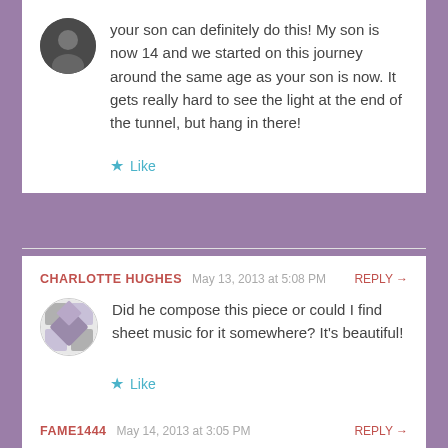your son can definitely do this! My son is now 14 and we started on this journey around the same age as your son is now. It gets really hard to see the light at the end of the tunnel, but hang in there!
Like
CHARLOTTE HUGHES   May 13, 2013 at 5:08 PM   REPLY →
Did he compose this piece or could I find sheet music for it somewhere? It's beautiful!
Like
FAME1444   May 14, 2013 at 3:05 PM   REPLY →